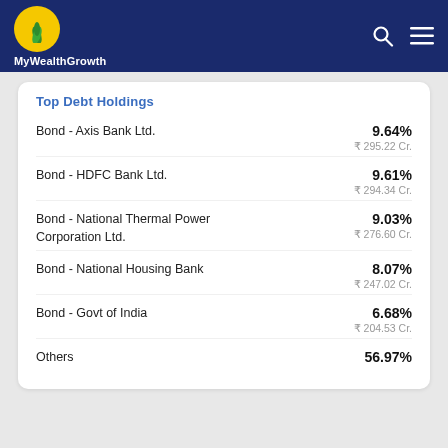MyWealthGrowth
Top Debt Holdings
Bond - Axis Bank Ltd. | 9.64% | ₹ 295.22 Cr.
Bond - HDFC Bank Ltd. | 9.61% | ₹ 294.34 Cr.
Bond - National Thermal Power Corporation Ltd. | 9.03% | ₹ 276.60 Cr.
Bond - National Housing Bank | 8.07% | ₹ 247.02 Cr.
Bond - Govt of India | 6.68% | ₹ 204.53 Cr.
Others | 56.97%